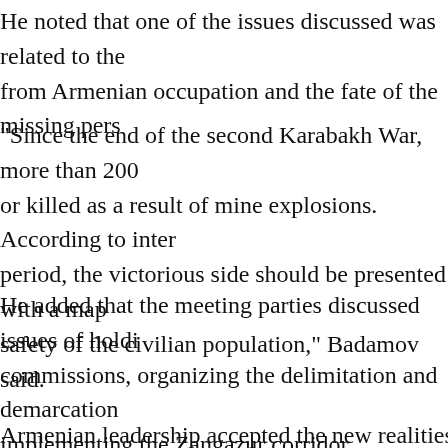He noted that one of the issues discussed was related to the liberation from Armenian occupation and the fate of the missing persons.
"Since the end of the second Karabakh War, more than 200 Azerbaijanis were injured or killed as a result of mine explosions. According to international law, in the post-war period, the victorious side should be presented with a map of mines for ensuring the safety of the civilian population," Badamov said.
He added that the meeting parties discussed issues of holding meetings of the commissions, organizing the delimitation and demarcation of the borders, implementing the Zangazur corridor, organizing state border crossings within the framework of international norms, the continuation of the working group to ensure economic development, and the issues of s...
Armenian leadership accepted the new realities created by...